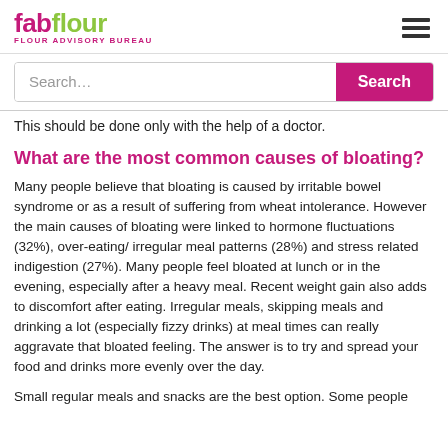fabflour FLOUR ADVISORY BUREAU
Search…
This should be done only with the help of a doctor.
What are the most common causes of bloating?
Many people believe that bloating is caused by irritable bowel syndrome or as a result of suffering from wheat intolerance. However the main causes of bloating were linked to hormone fluctuations (32%), over-eating/ irregular meal patterns (28%) and stress related indigestion (27%). Many people feel bloated at lunch or in the evening, especially after a heavy meal. Recent weight gain also adds to discomfort after eating. Irregular meals, skipping meals and drinking a lot (especially fizzy drinks) at meal times can really aggravate that bloated feeling. The answer is to try and spread your food and drinks more evenly over the day.
Small regular meals and snacks are the best option. Some people